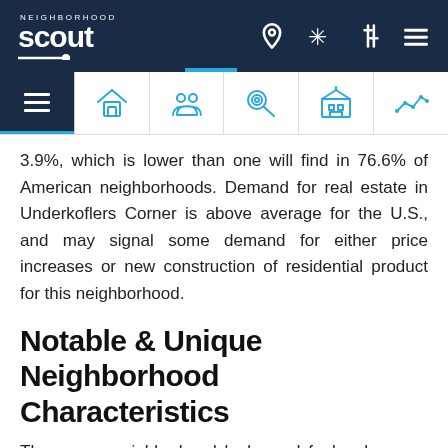NeighborhoodScout navigation header with logo and icons
3.9%, which is lower than one will find in 76.6% of American neighborhoods. Demand for real estate in Underkoflers Corner is above average for the U.S., and may signal some demand for either price increases or new construction of residential product for this neighborhood.
Notable & Unique Neighborhood Characteristics
The way a neighborhood looks and feels when you walk or drive around it, from its setting, its buildings,